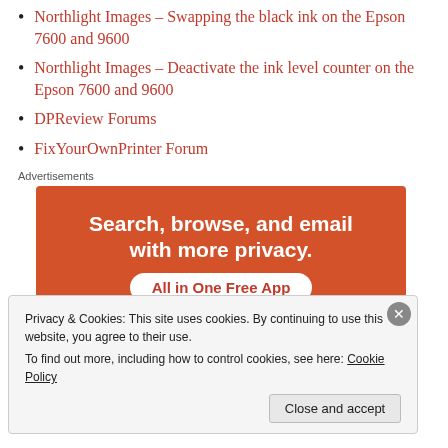Northlight Images – Swapping the black ink on the Epson 7600 and 9600
Northlight Images – Deactivate the ink level counter on the Epson 7600 and 9600
DPReview Forums
FixYourOwnPrinter Forum
Advertisements
[Figure (infographic): Advertisement banner with orange background reading 'Search, browse, and email with more privacy. All in One Free App']
Privacy & Cookies: This site uses cookies. By continuing to use this website, you agree to their use.
To find out more, including how to control cookies, see here: Cookie Policy
Close and accept